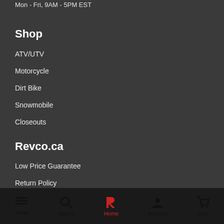Mon - Fri, 9AM - 5PM EST
Shop
ATV/UTV
Motorcycle
Dirt Bike
Snowmobile
Closeouts
Revco.ca
Low Price Guarantee
Return Policy
Shipping Policy
Shop  Search  Home  Account  Cart